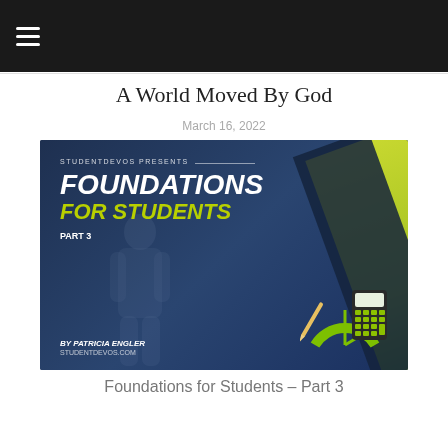≡
A World Moved By God
March 16, 2022
[Figure (illustration): Book/curriculum cover image for 'Foundations for Students – Part 3' by Patricia Engler from studentdevos.com, dark blue background with yellow-green diagonal stripes, showing school tools (calculator, protractor) and a student silhouette]
Foundations for Students – Part 3